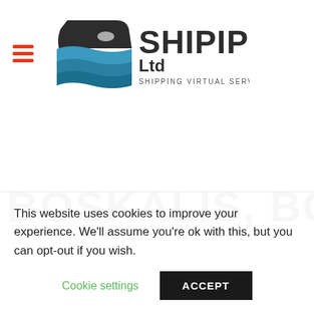[Figure (logo): SHIPIP Ltd logo with blue wave/ship graphic and text 'SHIPPING VIRTUAL SERVICES']
BOSKALIS, BOUYGUES
This website uses cookies to improve your experience. We'll assume you're ok with this, but you can opt-out if you wish.
Cookie settings  ACCEPT